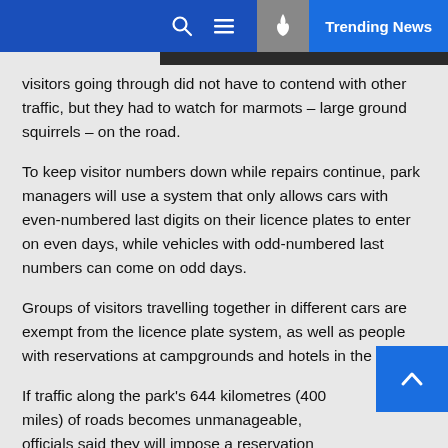Trending News
visitors going through did not have to contend with other traffic, but they had to watch for marmots – large ground squirrels – on the road.
To keep visitor numbers down while repairs continue, park managers will use a system that only allows cars with even-numbered last digits on their licence plates to enter on even days, while vehicles with odd-numbered last numbers can come on odd days.
Groups of visitors travelling together in different cars are exempt from the licence plate system, as well as people with reservations at campgrounds and hotels in the park.
If traffic along the park's 644 kilometres (400 miles) of roads becomes unmanageable, officials said they will impose a reservation system to enter the park.